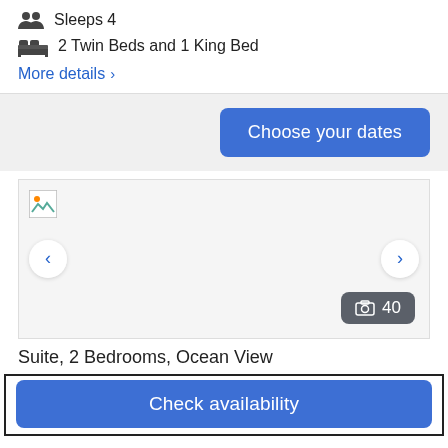Sleeps 4
2 Twin Beds and 1 King Bed
More details >
Choose your dates
[Figure (screenshot): Hotel room image carousel with navigation arrows and photo count badge showing 40 photos]
Suite, 2 Bedrooms, Ocean View
Check availability